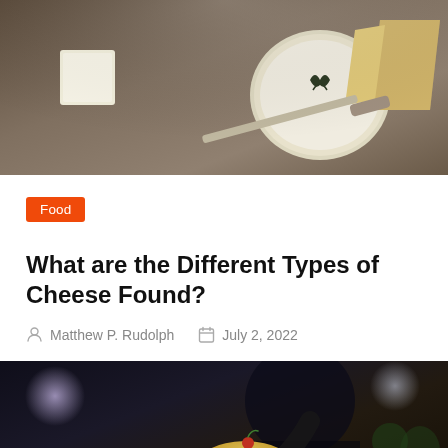[Figure (photo): Various types of cheese on a dark slate board with a knife, including a round Brie-style cheese with herb decoration, wedges of hard cheese, and soft white cheese.]
Food
What are the Different Types of Cheese Found?
Matthew P. Rudolph   July 2, 2022
[Figure (photo): A man sitting at a restaurant table with a cocktail glass containing a yellow drink garnished with a cherry in the foreground, and other food and drinks visible on the table. A scroll-to-top button is visible in the bottom right corner.]